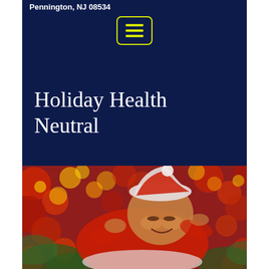Pennington, NJ 08534
[Figure (screenshot): Navigation menu button with three yellow horizontal lines (hamburger menu icon) inside a yellow-bordered rounded rectangle, on dark navy background]
Holiday Health Neutral
[Figure (photo): A smiling woman wearing a white Santa hat and red holiday outfit, lying down surrounded by colorful Christmas ornaments and holiday decorations in red, yellow, and green. The image is slightly blurred/out of focus.]